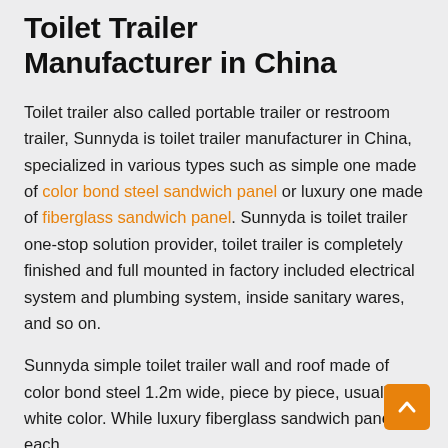Toilet Trailer Manufacturer in China
Toilet trailer also called portable trailer or restroom trailer, Sunnyda is toilet trailer manufacturer in China, specialized in various types such as simple one made of color bond steel sandwich panel or luxury one made of fiberglass sandwich panel. Sunnyda is toilet trailer one-stop solution provider, toilet trailer is completely finished and full mounted in factory included electrical system and plumbing system, inside sanitary wares, and so on.
Sunnyda simple toilet trailer wall and roof made of color bond steel 1.2m wide, piece by piece, usually white color. While luxury fiberglass sandwich panel each